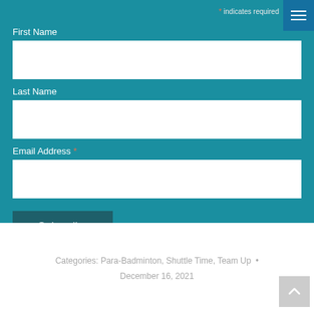* indicates required
First Name
Last Name
Email Address *
Subscribe
Categories: Para-Badminton, Shuttle Time, Team Up • December 16, 2021